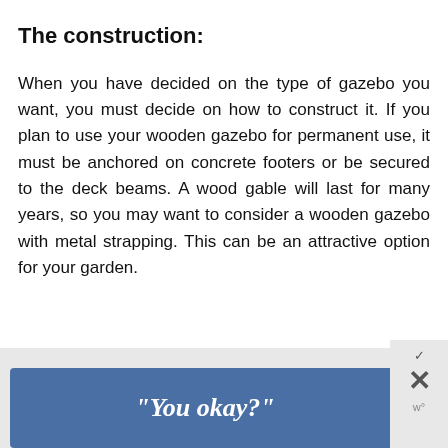The construction:
When you have decided on the type of gazebo you want, you must decide on how to construct it. If you plan to use your wooden gazebo for permanent use, it must be anchored on concrete footers or be secured to the deck beams. A wood gable will last for many years, so you may want to consider a wooden gazebo with metal strapping. This can be an attractive option for your garden.
[Figure (other): Advertisement banner with blue background containing the text "You okay?" with a close button (X) and a checkmark icon on the right side]